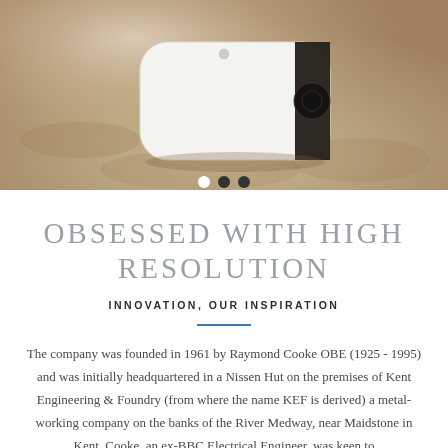[Figure (photo): Photograph of a white KEF wireless speaker/audio device resting on a textured beige/cream rug or carpet, with carousel navigation dots below the image (one white dot active, two dark dots inactive).]
OBSESSED WITH HIGH RESOLUTION
INNOVATION, OUR INSPIRATION
The company was founded in 1961 by Raymond Cooke OBE (1925 - 1995) and was initially headquartered in a Nissen Hut on the premises of Kent Engineering & Foundry (from where the name KEF is derived) a metal-working company on the banks of the River Medway, near Maidstone in Kent. Cooke, an ex-BBC Electrical Engineer, was keen to